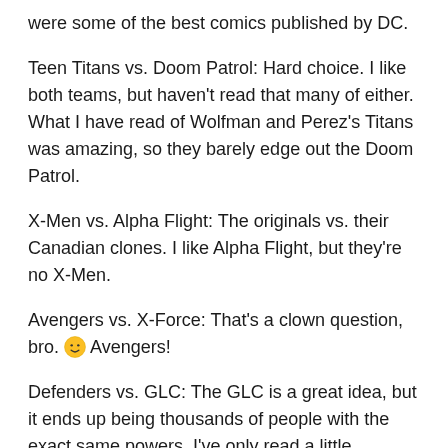were some of the best comics published by DC.
Teen Titans vs. Doom Patrol: Hard choice. I like both teams, but haven't read that many of either. What I have read of Wolfman and Perez's Titans was amazing, so they barely edge out the Doom Patrol.
X-Men vs. Alpha Flight: The originals vs. their Canadian clones. I like Alpha Flight, but they're no X-Men.
Avengers vs. X-Force: That's a clown question, bro. 🙂 Avengers!
Defenders vs. GLC: The GLC is a great idea, but it ends up being thousands of people with the exact same powers. I've only read a little